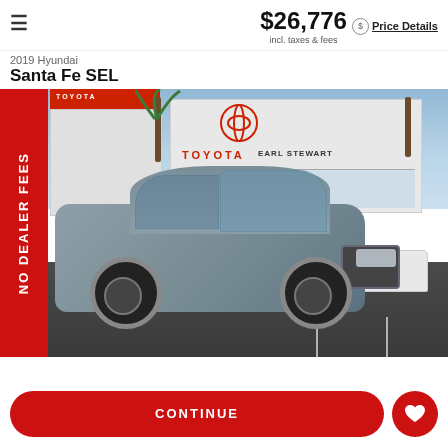≡  $26,776  incl. taxes & fees  Price Details
2019 Hyundai
Santa Fe SEL
[Figure (photo): 2019 Hyundai Santa Fe SEL silver SUV photographed in front of Earl Stewart Toyota dealership. A red vertical banner on the left side reads NO DEALER FEES.]
CONTINUE